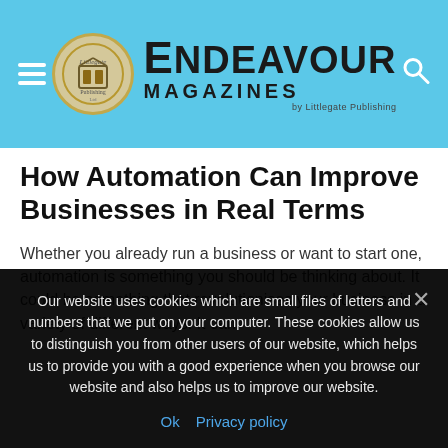Endeavour Magazines by Littlegate Publishing
How Automation Can Improve Businesses in Real Terms
Whether you already run a business or want to start one, automation is something you should be thinking about. It could be something that revolutionises your business in a variety of different ways. It can
Our website uses cookies which are small files of letters and numbers that we put on your computer. These cookies allow us to distinguish you from other users of our website, which helps us to provide you with a good experience when you browse our website and also helps us to improve our website.
Ok  Privacy policy